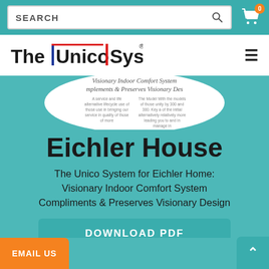SEARCH
[Figure (logo): The Unico System logo with blue and red accent lines]
[Figure (screenshot): Brochure thumbnail showing 'Visionary Indoor Comfort System Compliments & Preserves Visionary Design' text in circular crop]
Eichler House
The Unico System for Eichler Home: Visionary Indoor Comfort System Compliments & Preserves Visionary Design
DOWNLOAD PDF
EMAIL US